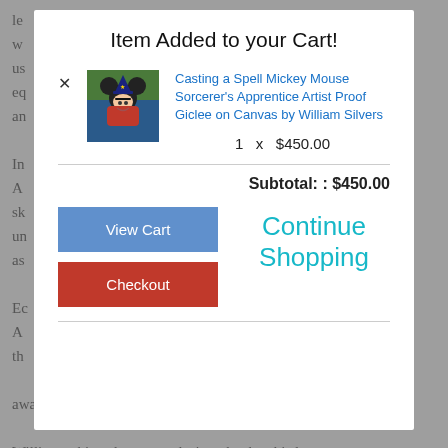le w us d eq an In re A sk un a as Ec as A re th award-winning game NCAA Football. William achieved a personal triumph when his long
Item Added to your Cart!
Casting a Spell Mickey Mouse Sorcerer's Apprentice Artist Proof Giclee on Canvas by William Silvers
1  x  $450.00
Subtotal: : $450.00
View Cart
Continue Shopping
Checkout